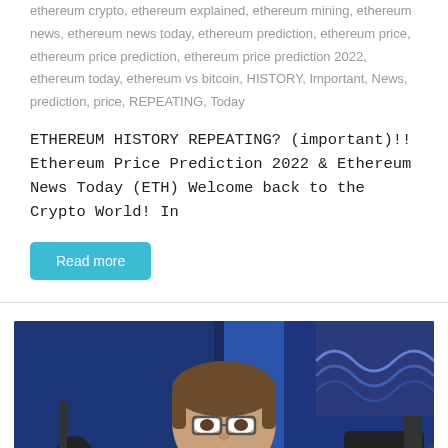ethereum crypto, ethereum explained, ethereum mining, ethereum news, ethereum news today, ethereum prediction, ethereum price, ethereum price prediction, ethereum price prediction 2022, ethereum today, ethereum vs bitcoin, HISTORY, Important, News, prediction, price, REPEATING, Today
ETHEREUM HISTORY REPEATING? (important)!! Ethereum Price Prediction 2022 & Ethereum News Today (ETH) Welcome back to the Crypto World! In
Read more
[Figure (photo): A man with glasses and brown hair sitting in front of a microphone in a studio setup with blue lighting and a Japanese wave art print on the wall behind him.]